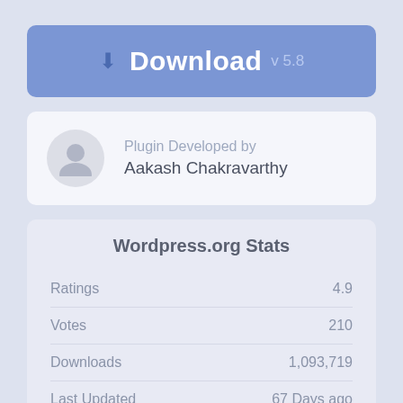↓ Download v 5.8
Plugin Developed by Aakash Chakravarthy
Wordpress.org Stats
|  |  |
| --- | --- |
| Ratings | 4.9 |
| Votes | 210 |
| Downloads | 1,093,719 |
| Last Updated | 67 Days ago |